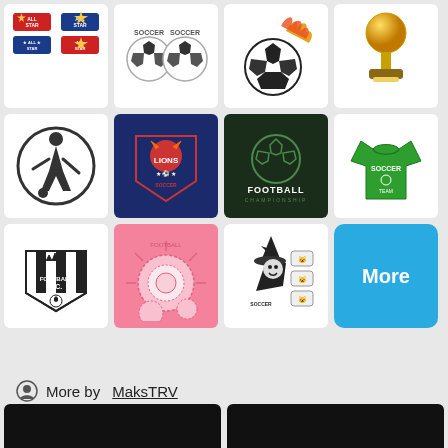[Figure (illustration): All Star soccer badge set with 4 badges in red, blue and black]
[Figure (illustration): Two soccer ball icons with 'Soccer' text in silver style]
[Figure (illustration): Flaming soccer ball in black and white]
[Figure (illustration): Gold soccer trophy on brown base]
[Figure (illustration): Soccer player kicking ball inside circle, black and white]
[Figure (illustration): Lions soccer badge on dark blue background with lion and red/white design]
[Figure (illustration): Football Championship text with soccer ball on dark green background]
[Figure (illustration): Green soccer t-shirt with Soccer team text]
[Figure (illustration): Football F.C. badge with crown and soccer ball, black and white]
[Figure (illustration): Pink background with soccer ball sketch illustration]
[Figure (illustration): Soccer Halloween witch mascot with small animal logos, black and white]
[Figure (illustration): More button in blue]
More by MaksTRV